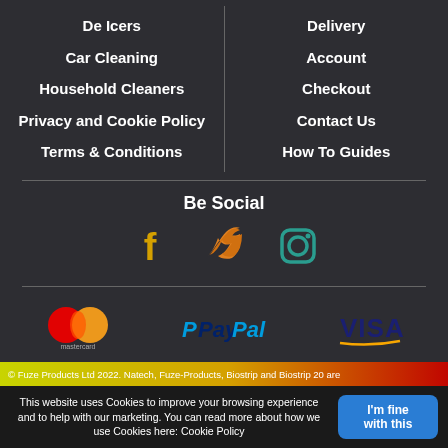De Icers
Car Cleaning
Household Cleaners
Privacy and Cookie Policy
Terms & Conditions
Delivery
Account
Checkout
Contact Us
How To Guides
Be Social
[Figure (infographic): Social media icons: Facebook (gold), Twitter (orange), Instagram (teal)]
[Figure (logo): Mastercard logo]
[Figure (logo): PayPal logo]
[Figure (logo): VISA logo]
© Fuze Products Ltd 2022. Natech, Fuze-Products, Biostrip and Biostrip 20 are
This website uses Cookies to improve your browsing experience and to help with our marketing. You can read more about how we use Cookies here: Cookie Policy